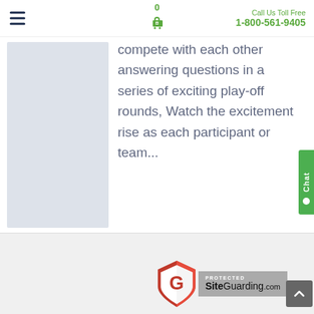0  Cart  |  Call Us Toll Free 1-800-561-9405
compete with each other answering questions in a series of exciting play-off rounds, Watch the excitement rise as each participant or team...
[Figure (other): Read More button — dark navy blue rectangle with white text 'Read More']
[Figure (other): SiteGuarding.com security badge with shield logo — PROTECTED SiteGuarding.com]
PROTECTED SiteGuarding.com